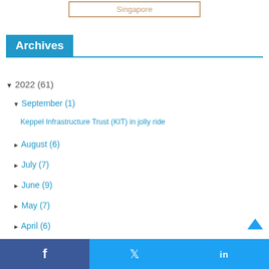Singapore
Archives
▼ 2022 (61)
▼ September (1)
Keppel Infrastructure Trust (KIT) in jolly ride
► August (6)
► July (7)
► June (9)
► May (7)
► April (6)
► March (7)
► February (8)
f    🐦    in